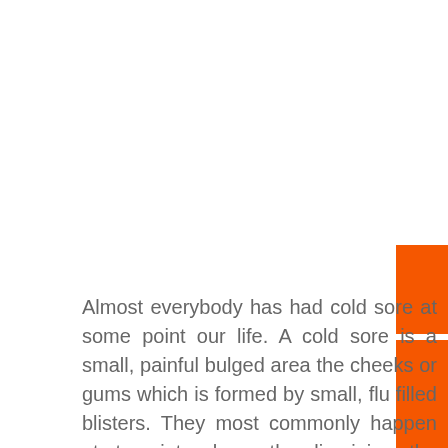[Figure (other): Decorative orange rectangular sidebar bars on the right edge of the page, split into two segments with a white gap between them.]
Almost everybody has had cold sore at some point our life. A cold sore is a small, painful bulged area the cheeks or gums which is formed by small, flu filled blisters. They most commonly happen at t point where the lip joins the surrounding skin. Cold Sores are very painful and get dried up to create a yellow crust which gradually heals in five to